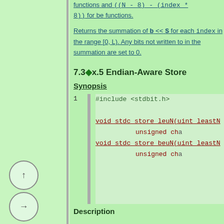functions and ((N - 8) - (index * 8)) for be functions.
Returns the summation of b << S for each index in the range [0, L). Any bits not written to in the summation are set to 0.
7.3◆x.5 Endian-Aware Store
Synopsis
#include <stdbit.h>

void stdc_store_leuN(uint_leastN unsigned char
void stdc_store_beuN(uint_leastN unsigned char
Description